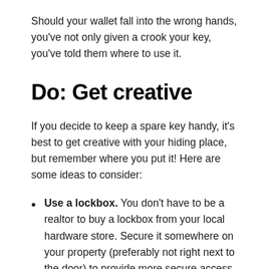Should your wallet fall into the wrong hands, you've not only given a crook your key, you've told them where to use it.
Do: Get creative
If you decide to keep a spare key handy, it's best to get creative with your hiding place, but remember where you put it! Here are some ideas to consider:
Use a lockbox. You don't have to be a realtor to buy a lockbox from your local hardware store. Secure it somewhere on your property (preferably not right next to the door) to provide more secure access to your spare key.